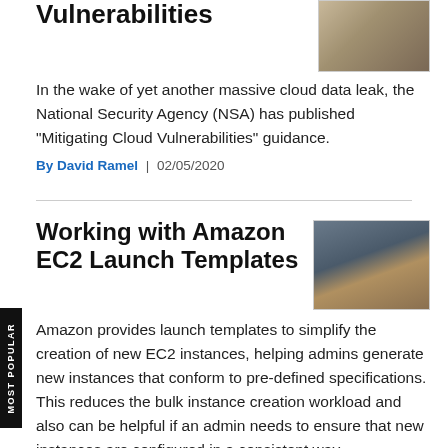Vulnerabilities
[Figure (photo): Photo thumbnail related to cloud vulnerabilities article]
In the wake of yet another massive cloud data leak, the National Security Agency (NSA) has published "Mitigating Cloud Vulnerabilities" guidance.
By David Ramel | 02/05/2020
Working with Amazon EC2 Launch Templates
[Figure (photo): Photo thumbnail showing steps/stairs with yellow lines, related to Amazon EC2 launch templates article]
Amazon provides launch templates to simplify the creation of new EC2 instances, helping admins generate new instances that conform to pre-defined specifications. This reduces the bulk instance creation workload and also can be helpful if an admin needs to ensure that new instances are configured in a consistent way.
By Brien Posey | 02/03/2020